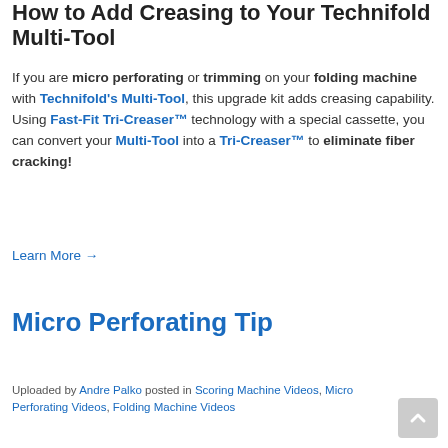How to Add Creasing to Your Technifold Multi-Tool
If you are micro perforating or trimming on your folding machine with Technifold's Multi-Tool, this upgrade kit adds creasing capability. Using Fast-Fit Tri-Creaser™ technology with a special cassette, you can convert your Multi-Tool into a Tri-Creaser™ to eliminate fiber cracking!
Learn More →
Micro Perforating Tip
Uploaded by Andre Palko posted in Scoring Machine Videos, Micro Perforating Videos, Folding Machine Videos